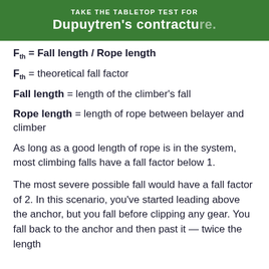[Figure (other): Green advertisement banner: TAKE THE TABLETOP TEST FOR Dupuytren's contracture.]
Fth = theoretical fall factor
Fall length = length of the climber's fall
Rope length = length of rope between belayer and climber
As long as a good length of rope is in the system, most climbing falls have a fall factor below 1.
The most severe possible fall would have a fall factor of 2. In this scenario, you've started leading above the anchor, but you fall before clipping any gear. You fall back to the anchor and then past it — twice the length